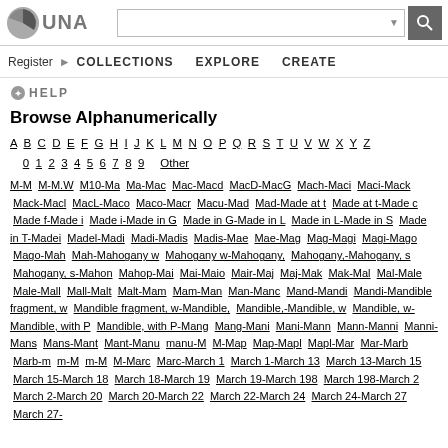LUNA — Search and navigation header
HELP
Browse Alphanumerically
A B C D E F G H I J K L M N O P Q R S T U V W X Y Z 0 1 2 3 4 5 6 7 8 9 Other
M-M M-M.W M10-Ma Ma-Mac Mac-Macd MacD-MacG Mach-Maci Maci-Mack Mack-Macl MacL-Maco Maco-Macr Macu-Mad Mad-Made at t Made at t-Made c Made f-Made i Made i-Made in G Made in G-Made in L Made in L-Made in S Made in T-Madei Madel-Madi Madi-Madis Madis-Mae Mae-Mag Mag-Magi Magi-Mago Mago-Mah Mah-Mahogany w Mahogany w-Mahogany, Mahogany,-Mahogany, s Mahogany, s-Mahon Mahop-Mai Mai-Maio Mair-Maj Maj-Mak Mak-Mal Mal-Male Male-Mall Mall-Malt Malt-Mam Mam-Man Man-Manc Mand-Mandi Mandi-Mandible fragment, w Mandible fragment, w-Mandible, Mandible,-Mandible, w Mandible, w-Mandible, with P Mandible, with P-Mang Mang-Mani Mani-Mann Mann-Manni Manni-Mans Mans-Mant Mant-Manu manu-M M-Map Map-Mapl Mapl-Mar Mar-Marb Marb-m m-M m-M M-Marc Marc-March 1 March 1-March 13 March 13-March 15 March 15-March 18 March 18-March 19 March 19-March 198 March 198-March 2 March 2-March 20 March 20-March 22 March 22-March 24 March 24-March 27 March 27-